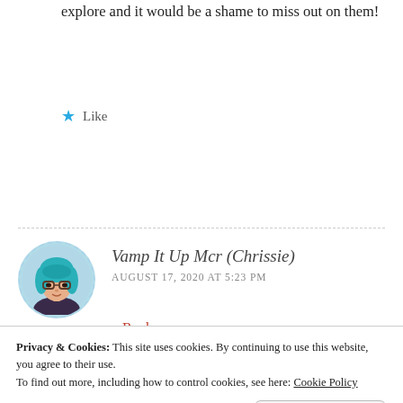explore and it would be a shame to miss out on them!
Like
Reply
Vamp It Up Mcr (Chrissie)
AUGUST 17, 2020 AT 5:23 PM
Some brilliant points to consider here and I can so relate to not getting jet lag and all the stress. I'm very lucky
Privacy & Cookies: This site uses cookies. By continuing to use this website, you agree to their use.
To find out more, including how to control cookies, see here: Cookie Policy
Close and accept
countryside, the coast and also Wales (still Britain, so I'm